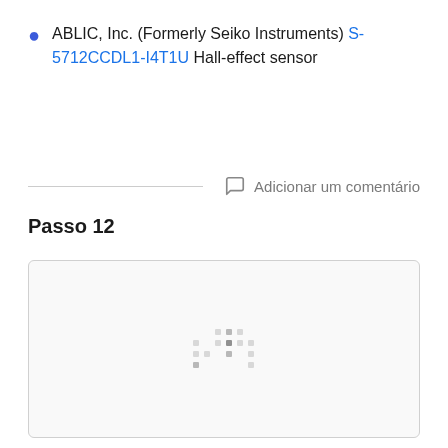ABLIC, Inc. (Formerly Seiko Instruments) S-5712CCDL1-I4T1U Hall-effect sensor
Adicionar um comentário
Passo 12
[Figure (other): Image loading placeholder with dotted loading indicator pattern shown inside a rounded border box]